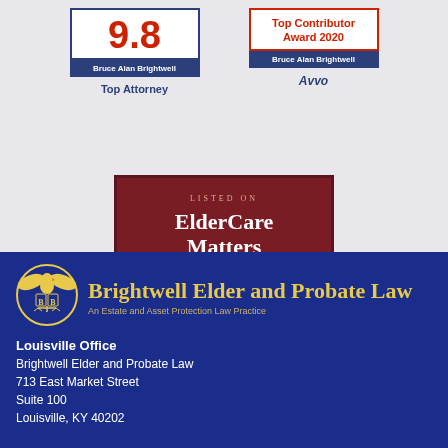[Figure (logo): Avvo 9.8 Top Attorney badge shield for Bruce Alan Brightwell]
[Figure (logo): Avvo Top Contributor Award 2020 badge shield for Bruce Alan Brightwell]
[Figure (logo): ElderCare Matters .COM – America's Directory of Elder Care Resources – Listed On badge]
[Figure (logo): Brightwell Elder and Probate Law firm logo with eagle and scales of justice icon]
Brightwell Elder and Probate Law
An Estate and Asset Protection Law Practice
Louisville Office
Brightwell Elder and Probate Law
713 East Market Street
Suite 100
Louisville, KY 40202